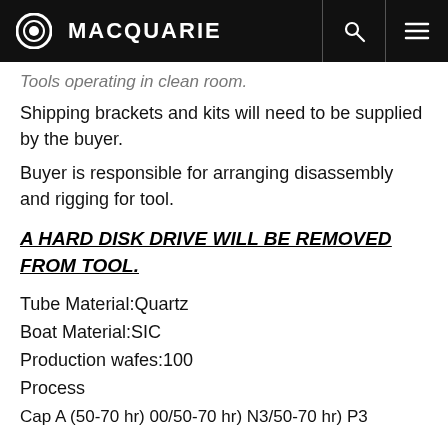MACQUARIE
Tools operating in clean room.
Shipping brackets and kits will need to be supplied by the buyer.
Buyer is responsible for arranging disassembly and rigging for tool.
A HARD DISK DRIVE WILL BE REMOVED FROM TOOL.
Tube Material:Quartz
Boat Material:SIC
Production wafes:100
Process
Cap A (50-70 hr) 00/50-70 hr) N3/50-70 hr) P3